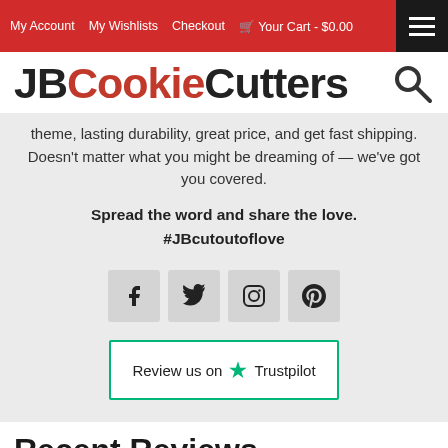My Account  My Wishlists  Checkout  Your Cart - $0.00
[Figure (logo): JBCookieCutters logo with search icon]
theme, lasting durability, great price, and get fast shipping. Doesn't matter what you might be dreaming of — we've got you covered.
Spread the word and share the love.
#JBcutoutoflove
[Figure (infographic): Social media icon buttons: Facebook, Twitter, Instagram, Pinterest]
[Figure (infographic): Review us on Trustpilot button with green star]
Recent Reviews